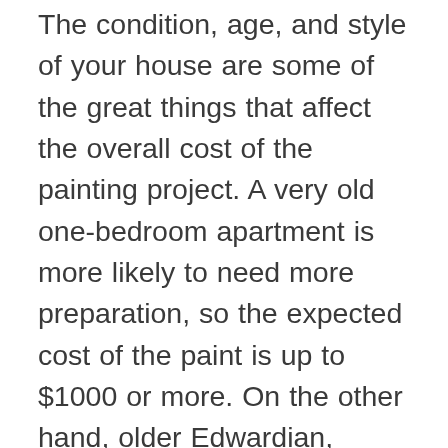The condition, age, and style of your house are some of the great things that affect the overall cost of the painting project. A very old one-bedroom apartment is more likely to need more preparation, so the expected cost of the paint is up to $1000 or more. On the other hand, older Edwardian, Victorian, and Federation houses will also cost a lot because they have high ceilings illustrated with decorative cimices and ceiling roses. The cost of painting such houses is very expensive, more than $20,000. Paint of new house is much easier instead of repainting the older